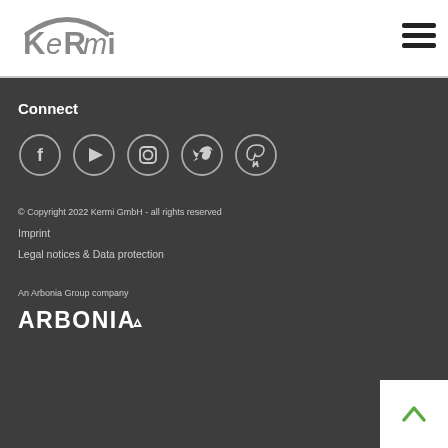[Figure (logo): Kermi logo in grey with stylized arc above text]
[Figure (other): Hamburger menu icon (three horizontal lines)]
Connect
[Figure (other): Row of 5 social media icons in circles: Facebook, YouTube, Instagram, Twitter, Pinterest]
© Copyright 2022 Kermi GmbH - all rights reserved
Imprint
Legal notices & Data protection
An Arbonia Group company
[Figure (logo): Arbonia logo in white with triangle icon]
[Figure (other): Scroll to top button with green chevron arrow on white background]